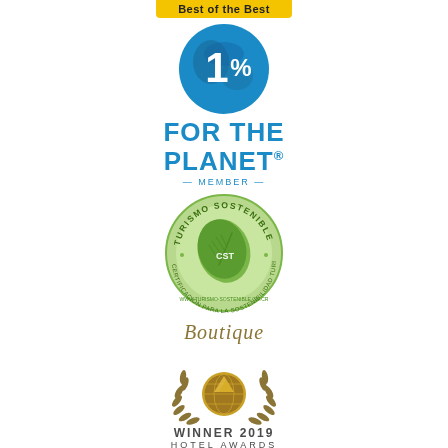[Figure (logo): Yellow banner reading 'Best of the Best']
[Figure (logo): 1% for the Planet member logo — blue circle with globe and '1%' text, with 'FOR THE PLANET' in blue bold text below and 'MEMBER' subtitle]
[Figure (logo): Turismo Sostenible CST certification logo — circular green badge with leaf graphic and text 'CERTIFICACION PARA LA SOSTENIBILIDAD TURISTICA' and website]
[Figure (logo): Boutique Hotel Awards Winner 2019 logo — gold globe with laurel wreath, 'WINNER 2019' and 'HOTEL AWARDS' text]
WORLD'S MOST ROMANTIC RETREAT
[Figure (logo): Partial view of another Boutique Hotel Awards logo at bottom of page]